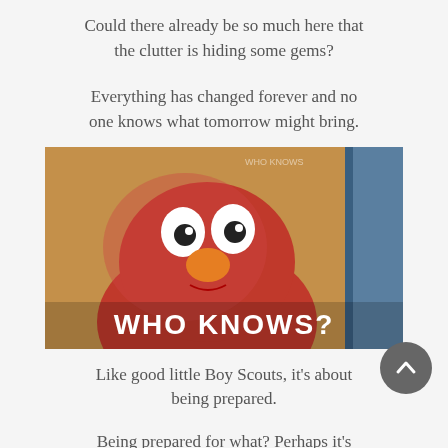Could there already be so much here that the clutter is hiding some gems?
Everything has changed forever and no one knows what tomorrow might bring.
[Figure (photo): Elmo (red Sesame Street muppet) with wide eyes and orange nose against a brown background, with white bold text overlay reading 'WHO KNOWS?']
Like good little Boy Scouts, it's about being prepared.
Being prepared for what? Perhaps it's about being prepared to face the truth